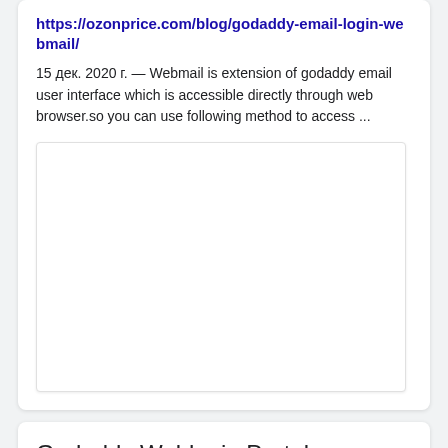https://ozonprice.com/blog/godaddy-email-login-webmail/
15 дек. 2020 г. — Webmail is extension of godaddy email user interface which is accessible directly through web browser.so you can use following method to access ...
[Figure (other): Blank white image placeholder within a card]
Godaddy Weblogin Portal - AddResources